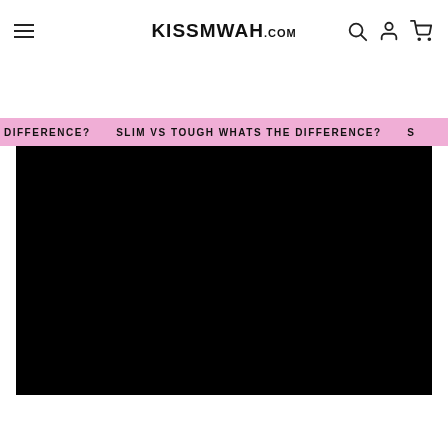KISSMWAH.COM
SLIM VS TOUGH WHATS THE DIFFERENCE?
[Figure (screenshot): Black video player area embedded on the page below the pink marquee banner]